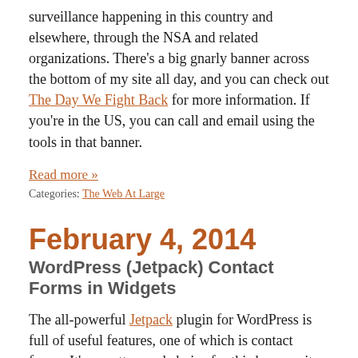surveillance happening in this country and elsewhere, through the NSA and related organizations. There's a big gnarly banner across the bottom of my site all day, and you can check out The Day We Fight Back for more information. If you're in the US, you can call and email using the tools in that banner.
Read more »
Categories: The Web At Large
February 4, 2014
WordPress (Jetpack) Contact Forms in Widgets
The all-powerful Jetpack plugin for WordPress is full of useful features, one of which is contact forms. It's a pretty good choice for this because it ties in with Akismet for spam protection, stores all submissions in the database (so your email account isn't the only place